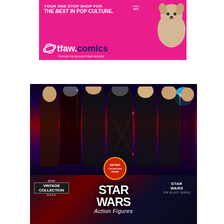[Figure (illustration): TFAW.comics (Things From Another World) advertisement banner on pink/magenta background with cartoon dog figure, tagline 'Your one stop shop for the best in pop culture', with planet logo and blue comic text branding]
[Figure (photo): Star Wars Hasbro action figures product image showing multiple characters in black costumes with lightsabers, featuring Star Wars Vintage Collection and Black Series branding, with 'STAR WARS Action Figures' text at bottom]